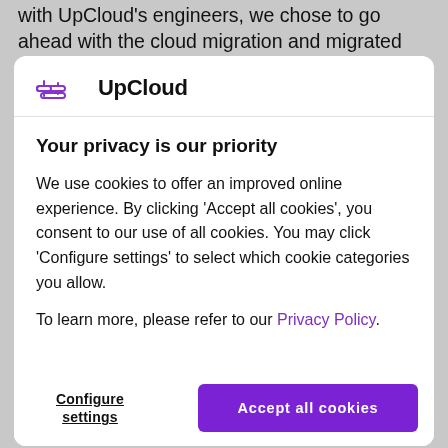with UpCloud's engineers, we chose to go ahead with the cloud migration and migrated the first fairly large customer.
[Figure (logo): UpCloud logo with purple icon and text 'UpCloud']
Your privacy is our priority
We use cookies to offer an improved online experience. By clicking 'Accept all cookies', you consent to our use of all cookies. You may click 'Configure settings' to select which cookie categories you allow.
To learn more, please refer to our Privacy Policy.
Configure settings
Accept all cookies